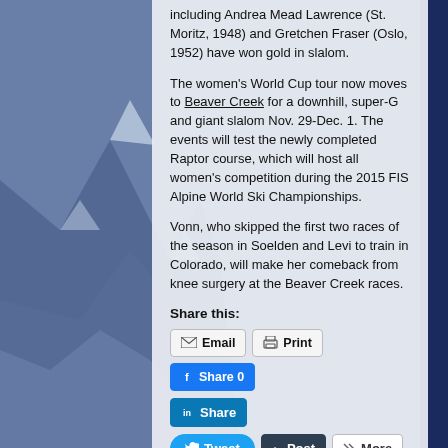including Andrea Mead Lawrence (St. Moritz, 1948) and Gretchen Fraser (Oslo, 1952) have won gold in slalom.
The women's World Cup tour now moves to Beaver Creek for a downhill, super-G and giant slalom Nov. 29-Dec. 1. The events will test the newly completed Raptor course, which will host all women's competition during the 2015 FIS Alpine World Ski Championships.
Vonn, who skipped the first two races of the season in Soelden and Levi to train in Colorado, will make her comeback from knee surgery at the Beaver Creek races.
Share this:
[Figure (screenshot): Social sharing buttons: Email, Print, Facebook Share 0, LinkedIn Share, Twitter Tweet, Tumblr Post, More]